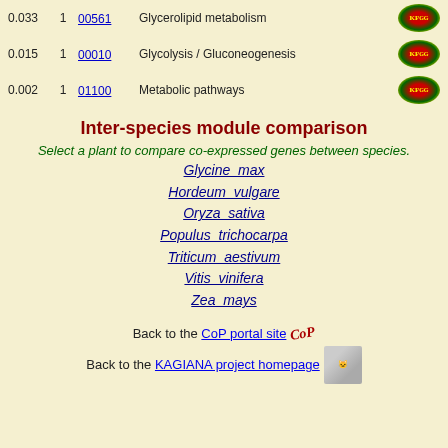0.033  1  00561  Glycerolipid metabolism
0.015  1  00010  Glycolysis / Gluconeogenesis
0.002  1  01100  Metabolic pathways
Inter-species module comparison
Select a plant to compare co-expressed genes between species.
Glycine max
Hordeum vulgare
Oryza sativa
Populus trichocarpa
Triticum aestivum
Vitis vinifera
Zea mays
Back to the CoP portal site
Back to the KAGIANA project homepage